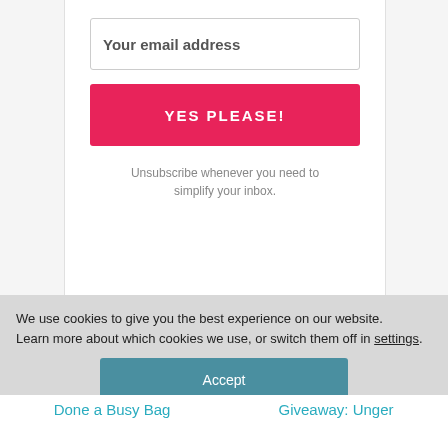Your email address
YES PLEASE!
Unsubscribe whenever you need to simplify your inbox.
We use cookies to give you the best experience on our website.
Learn more about which cookies we use, or switch them off in settings.
Accept
Done a Busy Bag
Giveaway: Unger